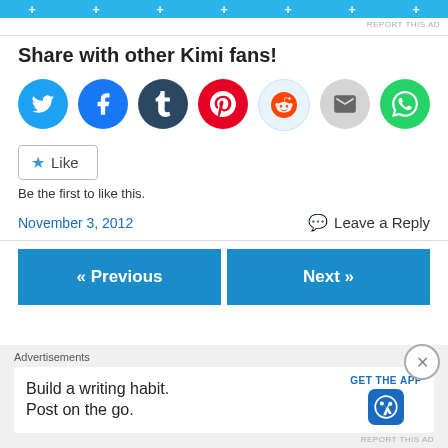[Figure (other): Blue advertisement bar at top with plus signs]
REPORT THIS AD
Share with other Kimi fans!
[Figure (other): Row of social media share icons: Twitter, Facebook, Tumblr, Pinterest, Reddit, Email, WhatsApp]
[Figure (other): Like button with star icon]
Be the first to like this.
November 3, 2012
Leave a Reply
[Figure (other): Previous and Next navigation buttons]
Advertisements
[Figure (other): WordPress app advertisement: Build a writing habit. Post on the go. GET THE APP with WordPress logo]
REPORT THIS AD